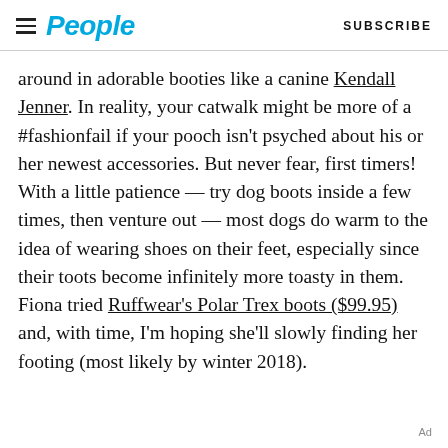People | SUBSCRIBE
around in adorable booties like a canine Kendall Jenner. In reality, your catwalk might be more of a #fashionfail if your pooch isn't psyched about his or her newest accessories. But never fear, first timers! With a little patience — try dog boots inside a few times, then venture out — most dogs do warm to the idea of wearing shoes on their feet, especially since their toots become infinitely more toasty in them. Fiona tried Ruffwear's Polar Trex boots ($99.95) and, with time, I'm hoping she'll slowly finding her footing (most likely by winter 2018).
Ad